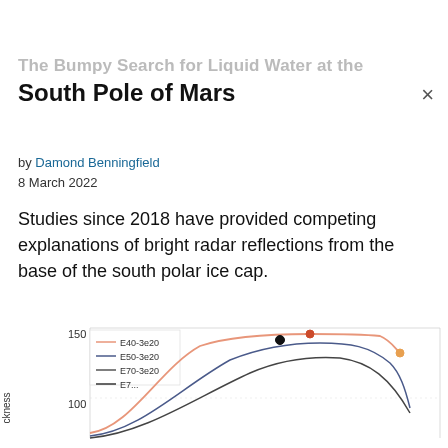The Bumpy Search for Liquid Water at the South Pole of Mars
by Damond Benningfield
8 March 2022
Studies since 2018 have provided competing explanations of bright radar reflections from the base of the south polar ice cap.
[Figure (continuous-plot): Partial view of a line chart with multiple series labeled E40-3e20, E50-3e20, E70-3e20, and more. Y-axis labeled 'thickness' with value 150 and 100 visible. Lines show curves with colored dots at peaks, including black, salmon/pink, and orange dots.]